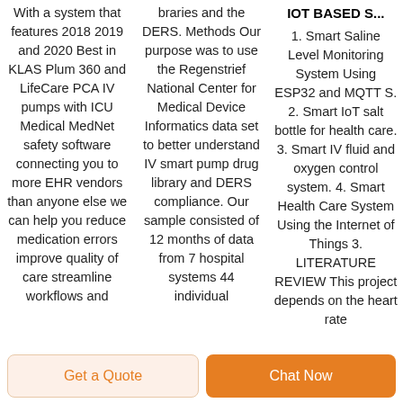With a system that features 2018 2019 and 2020 Best in KLAS Plum 360 and LifeCare PCA IV pumps with ICU Medical MedNet safety software connecting you to more EHR vendors than anyone else we can help you reduce medication errors improve quality of care streamline workflows and
braries and the DERS. Methods Our purpose was to use the Regenstrief National Center for Medical Device Informatics data set to better understand IV smart pump drug library and DERS compliance. Our sample consisted of 12 months of data from 7 hospital systems 44 individual
IOT BASED S...
1. Smart Saline Level Monitoring System Using ESP32 and MQTT S. 2. Smart IoT salt bottle for health care. 3. Smart IV fluid and oxygen control system. 4. Smart Health Care System Using the Internet of Things 3. LITERATURE REVIEW This project depends on the heart rate
Get a Quote
Chat Now